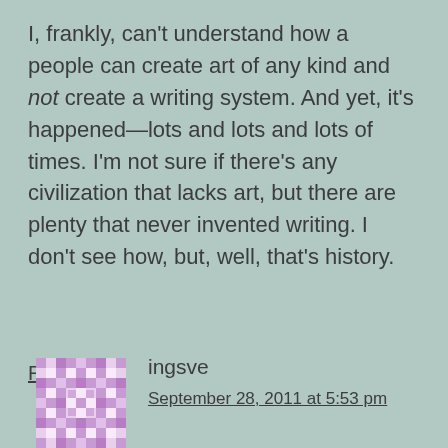I, frankly, can't understand how a people can create art of any kind and not create a writing system. And yet, it's happened—lots and lots and lots of times. I'm not sure if there's any civilization that lacks art, but there are plenty that never invented writing. I don't see how, but, well, that's history.
Reply
[Figure (illustration): User avatar: a square avatar image with a mosaic/pixel pattern in purple and white tones]
ingsve
September 28, 2011 at 5:53 pm